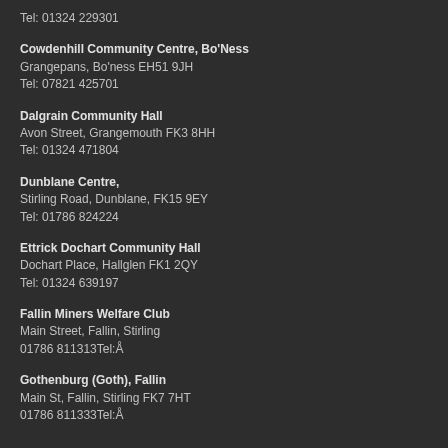Tel: 01324 229301
Cowdenhill Community Centre, Bo’Ness
Grangepans, Bo’ness EH51 9JH
Tel: 07821 425701
Dalgrain Community Hall
Avon Street, Grangemouth FK3 8HH
Tel: 01324 471804
Dunblane Centre,
Stirling Road, Dunblane, FK15 9EY
Tel: 01786 824224
Ettrick Dochart Community Hall
Dochart Place, Hallglen FK1 2QY
Tel: 01324 639197
Fallin Miners Welfare Club
Main Street, Fallin, Stirling
01786 811313Tel:Å
Gothenburg (Goth), Fallin
Main St, Fallin, Stirling FK7 7HT
01786 811333Tel:Å